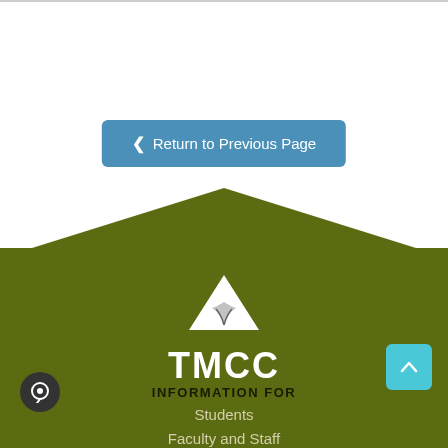[Figure (screenshot): White top section with a blue 'Return to Previous Page' button with left chevron arrow]
[Figure (logo): TMCC logo with mountain/road icon above the text TMCC on an olive/dark green background footer]
INFORMATION FOR
Students
Faculty and Staff